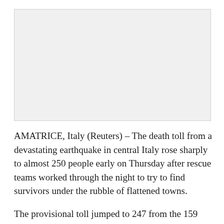[Figure (photo): Placeholder image area showing a light gray box representing a photograph related to the Italy earthquake story]
AMATRICE, Italy (Reuters) – The death toll from a devastating earthquake in central Italy rose sharply to almost 250 people early on Thursday after rescue teams worked through the night to try to find survivors under the rubble of flattened towns.
The provisional toll jumped to 247 from the 159 dead